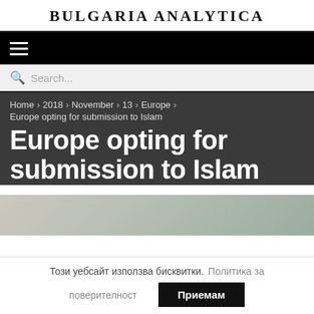BULGARIA ANALYTICA
[Figure (screenshot): Navigation bar with hamburger menu icon on black background]
[Figure (screenshot): Search bar with magnifying glass icon and placeholder text 'Search...']
Home › 2018 › November › 13 › Europe › Europe opting for submission to Islam
Europe opting for submission to Islam
[Figure (photo): Partially visible photograph, muted tones with greenery and figures]
Този уебсайт използва бисквитки.  Политика за поверителност
Приемам